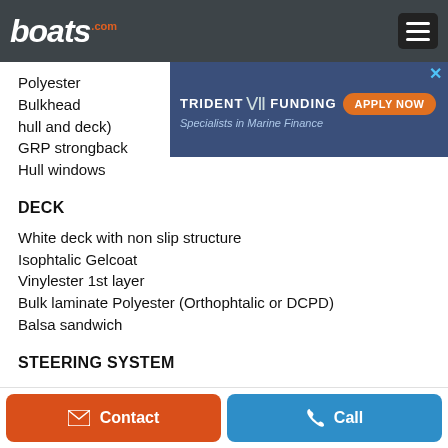boats.com
[Figure (screenshot): Trident Funding advertisement banner — Specialists in Marine Finance with Apply Now button]
Polyester
Bulkhead (to hull and deck)
GRP strongback
Hull windows
DECK
White deck with non slip structure
Isophtalic Gelcoat
Vinylester 1st layer
Bulk laminate Polyester (Orthophtalic or DCPD)
Balsa sandwich
STEERING SYSTEM
Contact | Call